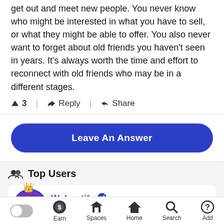get out and meet new people. You never know who might be interested in what you have to sell, or what they might be able to offer. You also never want to forget about old friends you haven't seen in years. It's always worth the time and effort to reconnect with old friends who may be in a different stages.
▲ 3  ↩ Reply  < Share
Leave An Answer
Top Users
Weboptify ✓ 3,541 Points